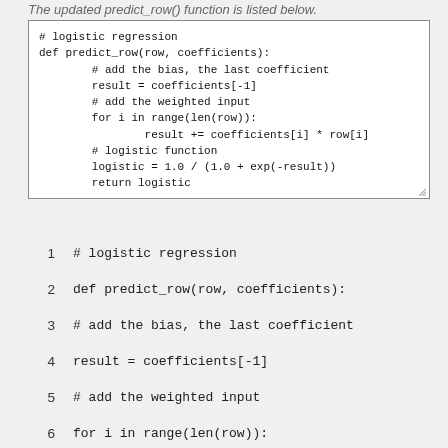The updated predict_row() function is listed below.
1    # logistic regression
2    def predict_row(row, coefficients):
3    # add the bias, the last coefficient
4    result = coefficients[-1]
5    # add the weighted input
6    for i in range(len(row)):